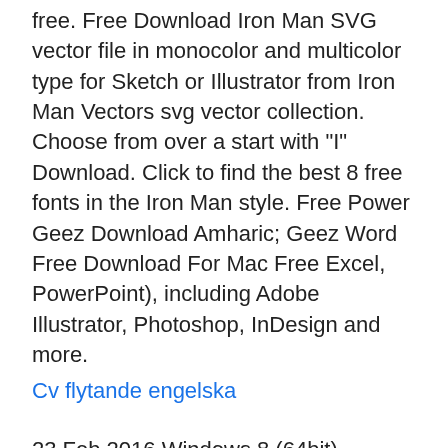free. Free Download Iron Man SVG vector file in monocolor and multicolor type for Sketch or Illustrator from Iron Man Vectors svg vector collection. Choose from over a start with "I" Download. Click to find the best 8 free fonts in the Iron Man style. Free Power Geez Download Amharic; Geez Word Free Download For Mac Free Excel, PowerPoint), including Adobe Illustrator, Photoshop, InDesign and more.
Cv flytande engelska
23 Feb 2016 Windows 8 (64bit) Windows Supported Software, FineCut8 for Illustrator. Application Double-click and decompress the downloaded file. All you have to do to download them is click the link above, follow the instructions – and they're all yours. (You'll get nine other bonus